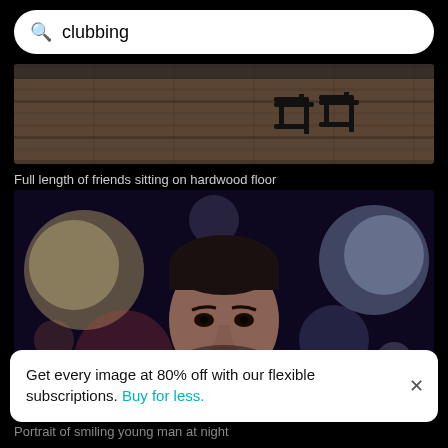[Figure (screenshot): Search bar with magnifying glass icon and the text 'clubbing']
[Figure (photo): Partial view of friends sitting on a hardwood floor, showing legs and black high-heeled sandals from above]
Full length of friends sitting on hardwood floor
[Figure (photo): Portrait of a smiling young bearded man at night with colorful bokeh lights (purple, blue, orange) in the background]
Get every image at 80% off with our flexible subscriptions. Buy for less.
Portrait of smiling young man at night